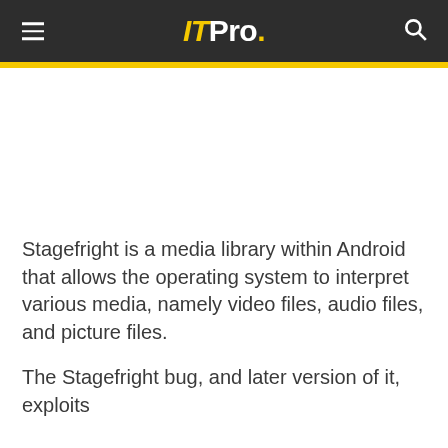IT Pro.
[Figure (other): White blank image/advertisement space]
Stagefright is a media library within Android that allows the operating system to interpret various media, namely video files, audio files, and picture files.
The Stagefright bug, and later version of it, exploits